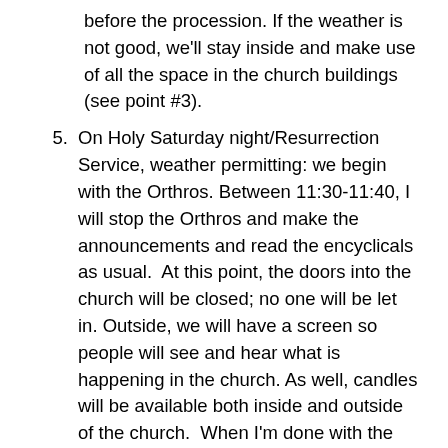before the procession. If the weather is not good, we'll stay inside and make use of all the space in the church buildings (see point #3).
5. On Holy Saturday night/Resurrection Service, weather permitting: we begin with the Orthros. Between 11:30-11:40, I will stop the Orthros and make the announcements and read the encyclicals as usual. At this point, the doors into the church will be closed; no one will be let in. Outside, we will have a screen so people will see and hear what is happening in the church. As well, candles will be available both inside and outside of the church. When I'm done with the announcements, everyone in